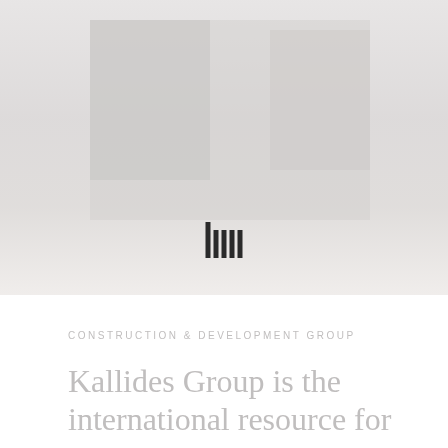[Figure (photo): Washed-out/faded photograph of a Mediterranean-style street scene with white buildings, people walking, trees, and bicycles. The image is heavily faded/lightened giving a near-white appearance.]
CONSTRUCTION & DEVELOPMENT GROUP
Kallides Group is the international resource for